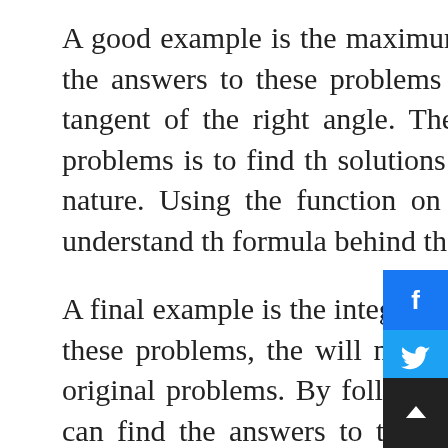A good example is the maximum cotangents function. Students who find the answers to these problems will need to know how to calculate the tangent of the right angle. The best way to find the answers to these problems is to find the solutions to many other problems that are similar in nature. Using the function on a graphing calculator can help a novice understand the formula behind the example.
A final example is the integration problem. When students find solutions to these problems, they will need to be able to apply the solutions to their original problems. By following the steps outlined in the examples they can find the answers to their problems. However, in order to understand these methods students need to also have a working knowledge of algebra...